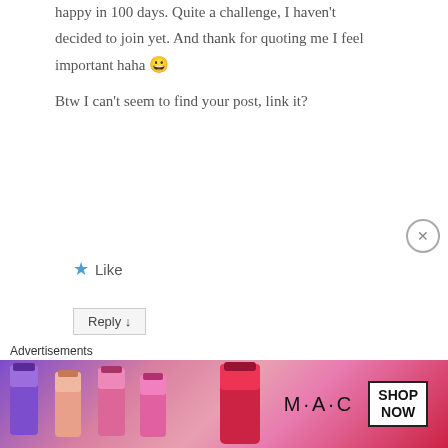happy in 100 days. Quite a challenge, I haven't decided to join yet. And thank for quoting me I feel important haha 😀 Btw I can't seem to find your post, link it?
★ Like
Reply ↓
Mabel Kwong
on 3 June 2014 at
Advertisements